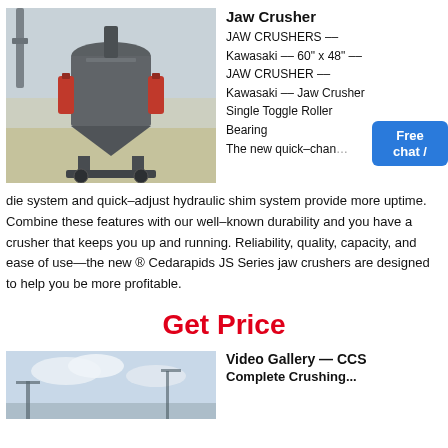[Figure (photo): Industrial jaw crusher machine, gray/red colored, in a warehouse/factory setting]
Jaw Crusher
JAW CRUSHERS --
Kawasaki -- 60" x 48" --
JAW CRUSHER --
Kawasaki -- Jaw Crusher Single Toggle Roller Bearing
The new quick-chan...
die system and quick-adjust hydraulic shim system provide more uptime. Combine these features with our well-known durability and you have a crusher that keeps you up and running. Reliability, quality, capacity, and ease of use—the new ® Cedarapids JS Series jaw crushers are designed to help you be more profitable.
Get Price
[Figure (photo): Outdoor construction/crushing site with machinery, sky visible]
Video Gallery — CCS Complete Crushing...